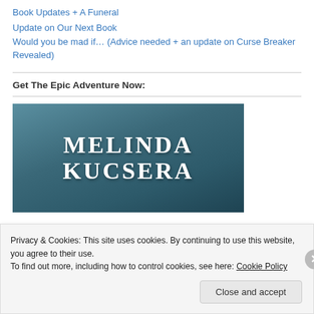Book Updates + A Funeral
Update on Our Next Book
Would you be mad if… (Advice needed + an update on Curse Breaker Revealed)
Get The Epic Adventure Now:
[Figure (photo): Book cover image showing author name MELINDA KUCSERA in large white serif text on a dark teal/blue gradient background, with a red bar at the bottom.]
Privacy & Cookies: This site uses cookies. By continuing to use this website, you agree to their use.
To find out more, including how to control cookies, see here: Cookie Policy
Close and accept